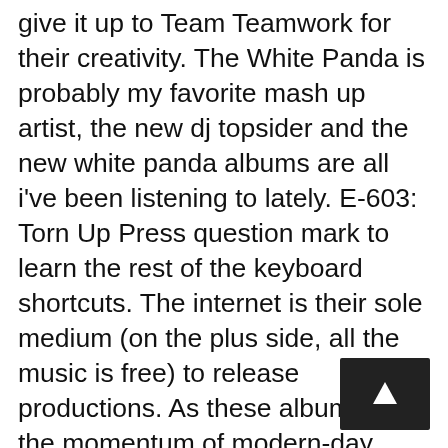give it up to Team Teamwork for their creativity. The White Panda is probably my favorite mash up artist, the new dj topsider and the new white panda albums are all i've been listening to lately. E-603: Torn Up Press question mark to learn the rest of the keyboard shortcuts. The internet is their sole medium (on the plus side, all the music is free) to release productions. As these albums set the momentum of modern-day mashups, self-made producers like Girl Talk, Super Mash Bros, The Hood Internet and DJ Earworm sprouted onto the Internet, each offering their own distinctive take on mashups. Gillis, who is based â¦ The artists of this scene have all moved on as well. Although the LA native is now working on an original production, the mashup legacy will always be remembered by his pop and hip-hop dominated transitions. Thanks for the suggestion. Monies incoming. Notable Layerings Ludacris' "Welcome to Atlanta" // Kool & The Gang "Celebration", 4. Bruneaux is damn good. Notable layerings: "What A Good Girl" // "What Are... Go to...